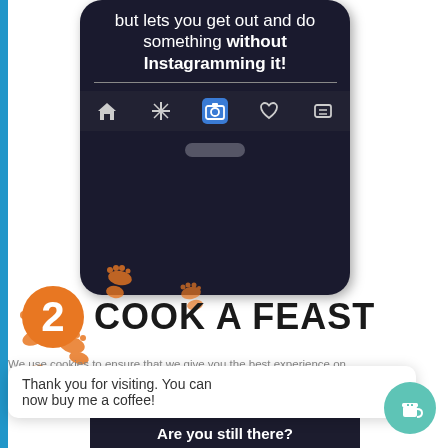[Figure (screenshot): Smartphone screenshot showing text 'but lets you get out and do something without Instagramming it!' with a dark navigation bar showing home, sparkle, camera (active/blue), heart, and card icons, plus a home indicator bar at bottom.]
[Figure (illustration): Orange shoe/boot footprint decorations scattered around the left side of the page.]
2 COOK A FEAST
Thank you for visiting. You can now buy me a coffee!
Are you still there?